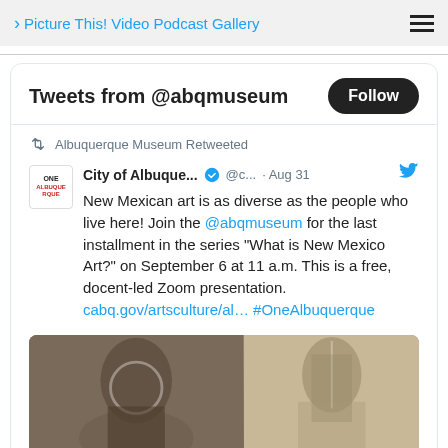Picture This! Video Podcast Gallery
Tweets from @abqmuseum
Albuquerque Museum Retweeted
City of Albuque... @c... · Aug 31
New Mexican art is as diverse as the people who live here! Join the @abqmuseum for the last installment in the series "What is New Mexico Art?" on September 6 at 11 a.m. This is a free, docent-led Zoom presentation.
cabq.gov/artsculture/al… #OneAlbuquerque
[Figure (photo): Black and white photo split in two halves showing people, likely related to New Mexico art]